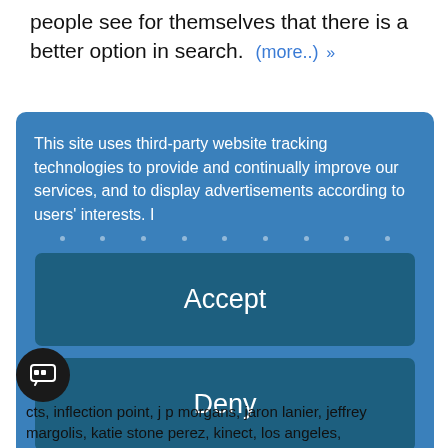people see for themselves that there is a better option in search.  (more..)  »
This site uses third-party website tracking technologies to provide and continually improve our services, and to display advertisements according to users' interests. I
Accept
Deny
more
Powered by  usercentrics  &  eRecht24
cts, inflection point, j p morgans, jaron lanier, jeffrey margolis, katie stone perez, kinect, los angeles,